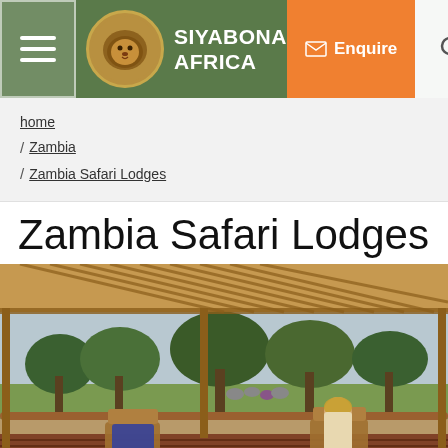Siyabona Africa — Navigation header with menu, logo, Enquire button, and search icon
home / Zambia / Zambia Safari Lodges
Zambia Safari Lodges
[Figure (photo): A woman sitting on a wooden deck chair under a slatted pergola at a safari lodge, overlooking a green savanna where a herd of elephants grazes, with trees in the background.]